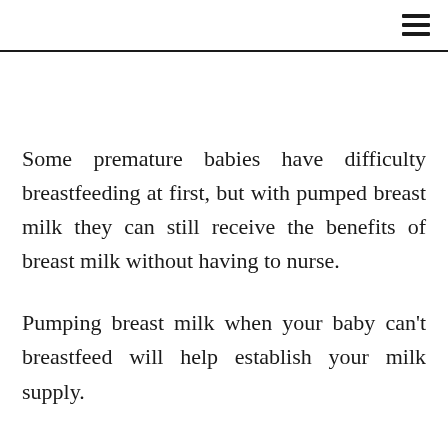≡
Some premature babies have difficulty breastfeeding at first, but with pumped breast milk they can still receive the benefits of breast milk without having to nurse.
Pumping breast milk when your baby can't breastfeed will help establish your milk supply.